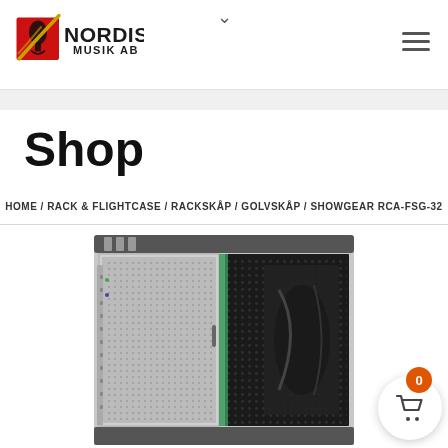Nordisk Musik AB – Shop header with logo and navigation
Shop
HOME / RACK & FLIGHTCASE / RACKSKÅP / GOLVSKÅP / SHOWGEAR RCA-FSG-32
[Figure (photo): Server rack cabinet (Showgear RCA-FSG-32) with perforated door and cable management, partially open, showing interior components]